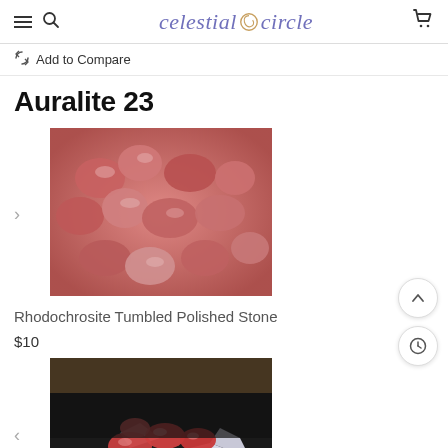celestial circle
Add to Compare
Auralite 23
[Figure (photo): Rhodochrosite tumbled polished stones — pink and red pebbles clustered together]
Rhodochrosite Tumbled Polished Stone
$10
[Figure (photo): AAA Rhodochrosite polished stone — red stones placed on a white crystal cluster against dark background]
AAA Rhodochrosite Polished Stone